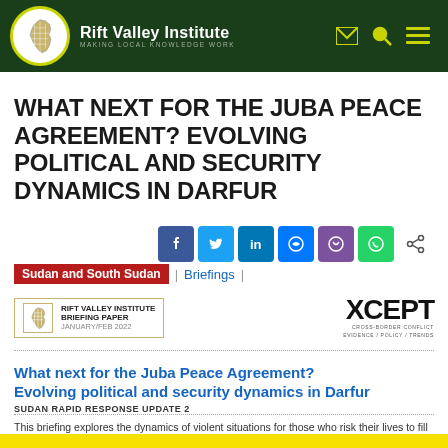Rift Valley Institute — MAKING LOCAL KNOWLEDGE WORK
WHAT NEXT FOR THE JUBA PEACE AGREEMENT? EVOLVING POLITICAL AND SECURITY DYNAMICS IN DARFUR
Sudan and South Sudan | Briefings |
[Figure (logo): Rift Valley Institute Briefing Paper January/Feb 2022 logo with Africa map icon and XCEPT cross-border conflict logo]
What next for the Juba Peace Agreement? Evolving political and security dynamics in Darfur
SUDAN RAPID RESPONSE UPDATE 2
This briefing explores the dynamics of violent situations for those who risk their lives to fill the...